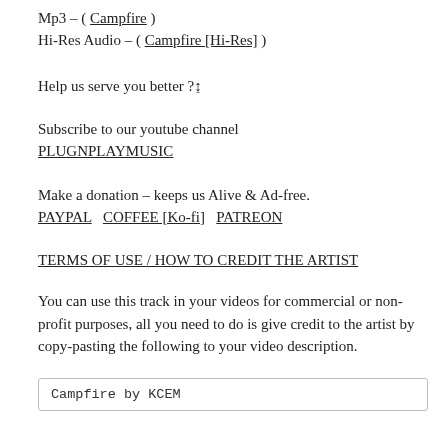Mp3 – ( Campfire )
Hi-Res Audio – ( Campfire [Hi-Res] )
Help us serve you better ?↨
Subscribe to our youtube channel PLUGNPLAYMUSIC
Make a donation – keeps us Alive & Ad-free.
PAYPAL   COFFEE [Ko-fi]   PATREON
TERMS OF USE / HOW TO CREDIT THE ARTIST
You can use this track in your videos for commercial or non-profit purposes, all you need to do is give credit to the artist by copy-pasting the following to your video description.
Campfire by KCEM